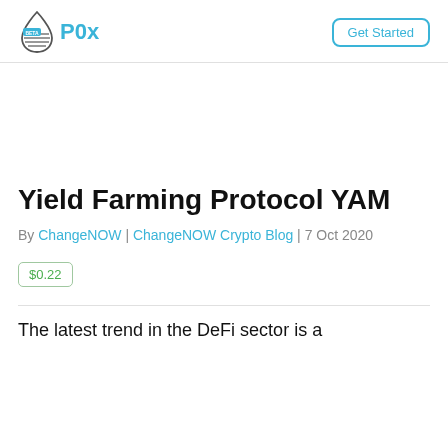P0x | Get Started
Yield Farming Protocol YAM
By ChangeNOW | ChangeNOW Crypto Blog | 7 Oct 2020
$0.22
The latest trend in the DeFi sector is a